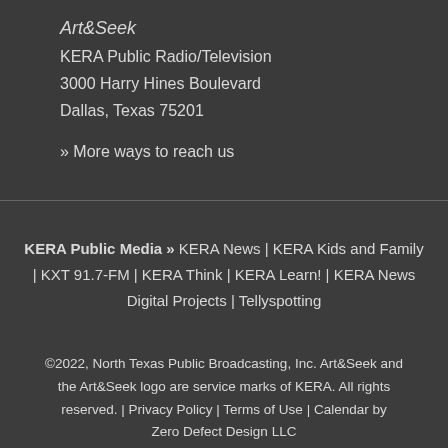Art&Seek
KERA Public Radio/Television
3000 Harry Hines Boulevard
Dallas, Texas 75201
» More ways to reach us
KERA Public Media » KERA News | KERA Kids and Family | KXT 91.7-FM | KERA Think | KERA Learn! | KERA News Digital Projects | Tellyspotting
©2022, North Texas Public Broadcasting, Inc. Art&Seek and the Art&Seek logo are service marks of KERA. All rights reserved. | Privacy Policy | Terms of Use | Calendar by Zero Defect Design LLC